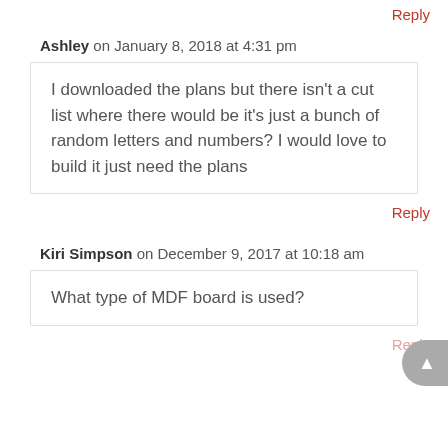Reply
Ashley on January 8, 2018 at 4:31 pm
I downloaded the plans but there isn't a cut list where there would be it's just a bunch of random letters and numbers? I would love to build it just need the plans
Reply
Kiri Simpson on December 9, 2017 at 10:18 am
What type of MDF board is used?
Reply